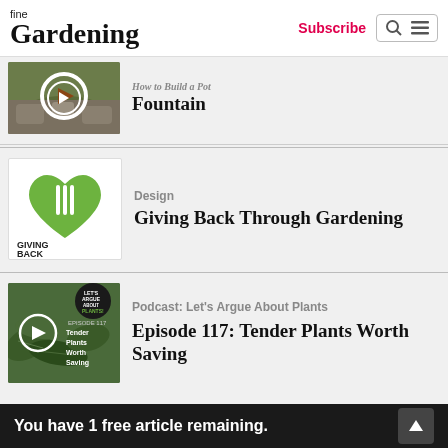fine Gardening | Subscribe
[Figure (screenshot): Thumbnail image of garden with stone path and circular decorative element, with play button overlay]
How to Build a Pot Fountain
[Figure (logo): Giving Back Through Gardening logo with green heart and fork/knife icon]
Design
Giving Back Through Gardening
[Figure (screenshot): Podcast thumbnail with plant leaves and Let's Argue About Plants podcast logo, Episode 117: Tender Plants Worth Saving]
Podcast: Let's Argue About Plants
Episode 117: Tender Plants Worth Saving
You have 1 free article remaining.